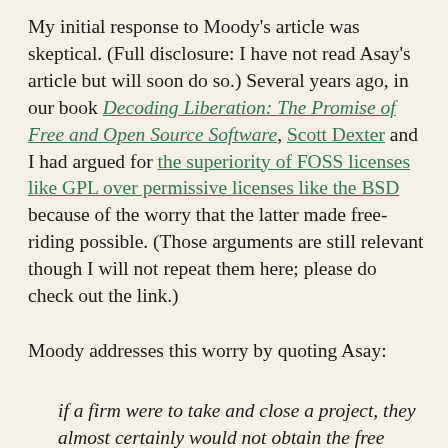My initial response to Moody's article was skeptical. (Full disclosure: I have not read Asay's article but will soon do so.) Several years ago, in our book Decoding Liberation: The Promise of Free and Open Source Software, Scott Dexter and I had argued for the superiority of FOSS licenses like GPL over permissive licenses like the BSD because of the worry that the latter made free-riding possible. (Those arguments are still relevant though I will not repeat them here; please do check out the link.)
Moody addresses this worry by quoting Asay:
if a firm were to take and close a project, they almost certainly would not obtain the free labor